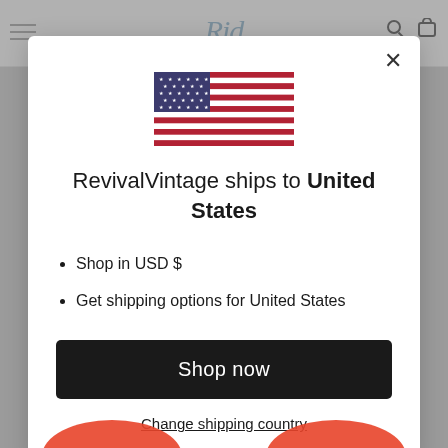[Figure (screenshot): US flag emoji/icon centered at top of modal]
RevivalVintage ships to United States
Shop in USD $
Get shipping options for United States
Shop now
Change shipping country